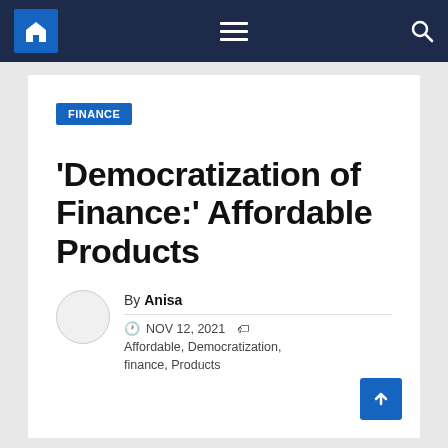Navigation bar with home, menu, and search icons
FINANCE
'Democratization of Finance:' Affordable Products
By Anisa — NOV 12, 2021 — Affordable, Democratization, finance, Products